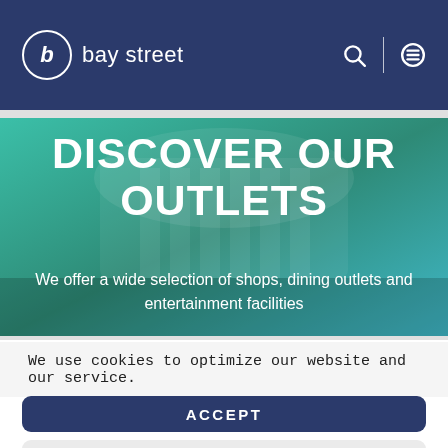b bay street
[Figure (screenshot): Hero banner with teal/green overlay showing shopping mall interior with 'DISCOVER OUR OUTLETS' heading and subtitle text]
DISCOVER OUR OUTLETS
We offer a wide selection of shops, dining outlets and entertainment facilities
We use cookies to optimize our website and our service.
ACCEPT
DENY